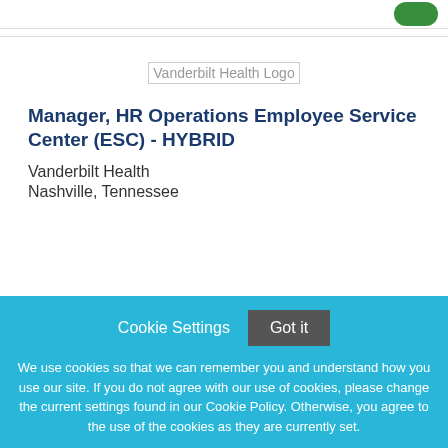[Figure (logo): Vanderbilt Health Logo placeholder image]
Manager, HR Operations Employee Service Center (ESC) - HYBRID
Vanderbilt Health
Nashville, Tennessee
Cookie Settings  Got it
We use cookies so that we can remember you and understand how you use our site. If you do not agree with our use of cookies, please change the current settings found in our Cookie Policy. Otherwise, you agree to the use of the cookies as they are currently set.